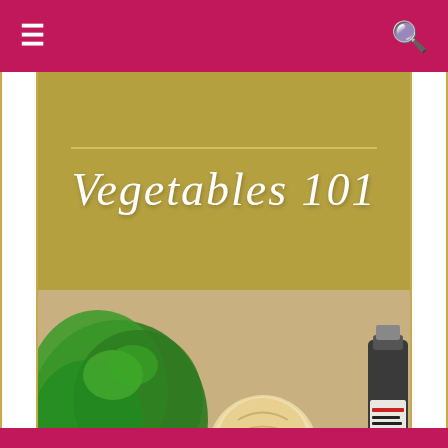Navigation bar with menu and search icons
Vegetables 101
[Figure (photo): A jicama root vegetable on a wooden cutting board with a knife, surrounded by radishes, green herbs, an onion, a lime, and a bottle of Italian white wine vinegar in the background.]
What Is Jicama? ♥ Vegetables 101